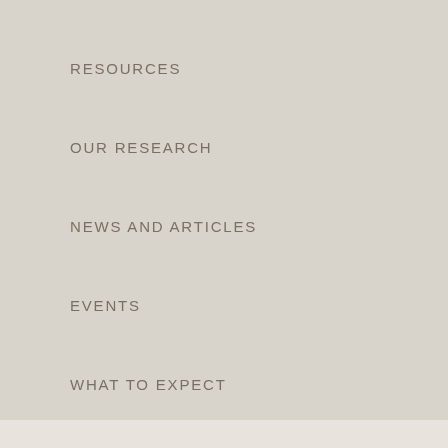RESOURCES
OUR RESEARCH
NEWS AND ARTICLES
EVENTS
WHAT TO EXPECT
BIRTH DEFECTS AWARENESS
RESOURCES FOR PROFESSIONALS